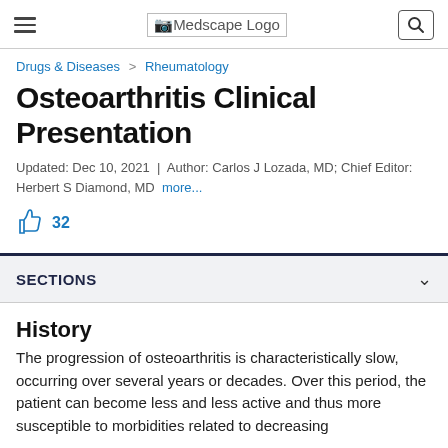Medscape Logo
Drugs & Diseases > Rheumatology
Osteoarthritis Clinical Presentation
Updated: Dec 10, 2021 | Author: Carlos J Lozada, MD; Chief Editor: Herbert S Diamond, MD more...
32
SECTIONS
History
The progression of osteoarthritis is characteristically slow, occurring over several years or decades. Over this period, the patient can become less and less active and thus more susceptible to morbidities related to decreasing